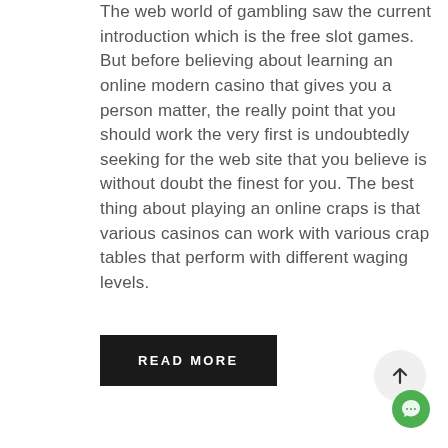The web world of gambling saw the current introduction which is the free slot games. But before believing about learning an online modern casino that gives you a person matter, the really point that you should work the very first is undoubtedly seeking for the web site that you believe is without doubt the finest for you. The best thing about playing an online craps is that various casinos can work with various crap tables that perform with different waging levels.
READ MORE
[Figure (other): Scroll-to-top circular button with upward arrow icon]
[Figure (other): Green circular chat/support button]